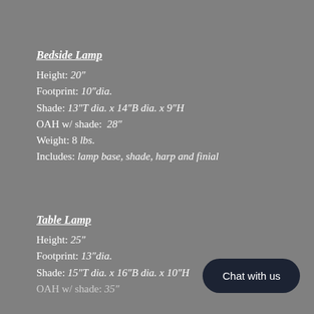Bedside Lamp
Height: 20″
Footprint: 10″dia.
Shade: 13″T dia. x 14″B dia. x 9″H
OAH w/ shade: 28″
Weight: 8 lbs.
Includes: lamp base, shade, harp and finial
Table Lamp
Height: 25″
Footprint: 13″dia.
Shade: 15″T dia. x 16″B dia. x 10″H
OAH w/ shade: 35″